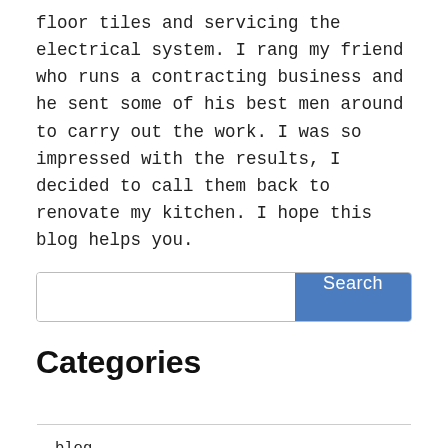floor tiles and servicing the electrical system. I rang my friend who runs a contracting business and he sent some of his best men around to carry out the work. I was so impressed with the results, I decided to call them back to renovate my kitchen. I hope this blog helps you.
[Figure (other): Search bar with text input field and blue Search button]
Categories
|  |
| blog |
| construction--contractors |
Archive
| 2017 |